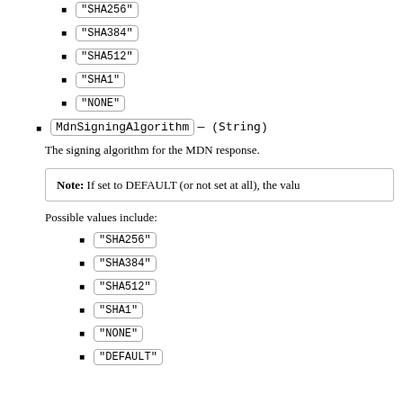"SHA256"
"SHA384"
"SHA512"
"SHA1"
"NONE"
MdnSigningAlgorithm — (String)
The signing algorithm for the MDN response.
Note: If set to DEFAULT (or not set at all), the valu
Possible values include:
"SHA256"
"SHA384"
"SHA512"
"SHA1"
"NONE"
"DEFAULT"